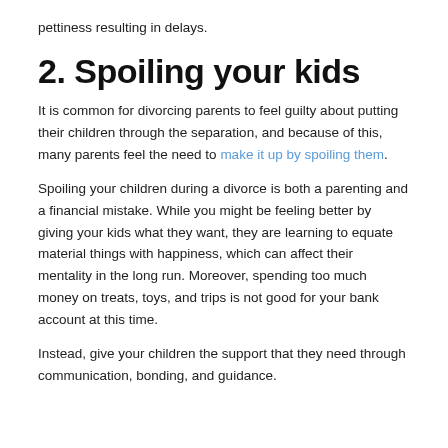pettiness resulting in delays.
2. Spoiling your kids
It is common for divorcing parents to feel guilty about putting their children through the separation, and because of this, many parents feel the need to make it up by spoiling them.
Spoiling your children during a divorce is both a parenting and a financial mistake. While you might be feeling better by giving your kids what they want, they are learning to equate material things with happiness, which can affect their mentality in the long run. Moreover, spending too much money on treats, toys, and trips is not good for your bank account at this time.
Instead, give your children the support that they need through communication, bonding, and guidance.